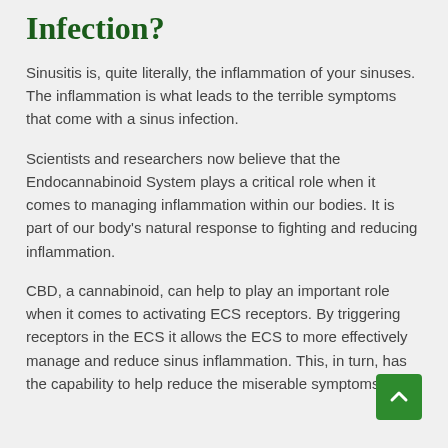Infection?
Sinusitis is, quite literally, the inflammation of your sinuses. The inflammation is what leads to the terrible symptoms that come with a sinus infection.
Scientists and researchers now believe that the Endocannabinoid System plays a critical role when it comes to managing inflammation within our bodies. It is part of our body's natural response to fighting and reducing inflammation.
CBD, a cannabinoid, can help to play an important role when it comes to activating ECS receptors. By triggering receptors in the ECS it allows the ECS to more effectively manage and reduce sinus inflammation. This, in turn, has the capability to help reduce the miserable symptoms